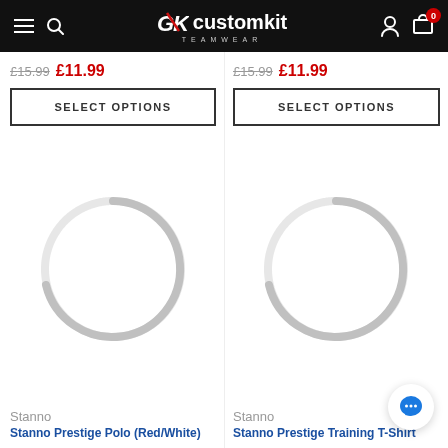GK customkit TEAMWEAR — navigation header with hamburger, search, logo, account, and cart (0 items)
£15.99  £11.99
SELECT OPTIONS
[Figure (illustration): Loading spinner / placeholder circle graphic for product image (left product)]
Stanno
Stanno Prestige Polo (Red/White)
£15.99  £11.99
SELECT OPTIONS
[Figure (illustration): Loading spinner / placeholder circle graphic for product image (right product)]
Stanno
Stanno Prestige Training T-Shirt